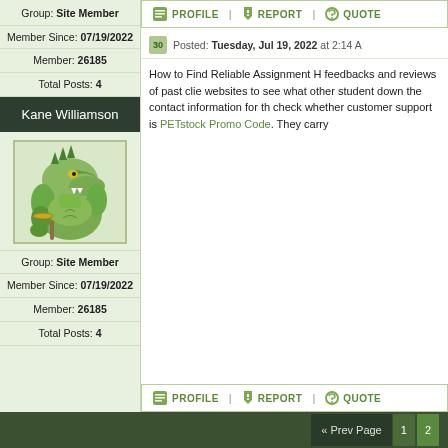Group: Site Member
Member Since: 07/19/2022
Member: 26185
Total Posts: 4
PROFILE  REPORT  QUOTE
Kane Williamson
[Figure (illustration): Illustration of a muscular anthropomorphic crocodile/alligator character flexing its muscles, rendered in green tones]
Group: Site Member
Member Since: 07/19/2022
Member: 26185
Total Posts: 4
Posted: Tuesday, Jul 19, 2022 at 2:14 A
How to Find Reliable Assignment H feedbacks and reviews of past clie websites to see what other student down the contact information for th check whether customer support is PETstock Promo Code. They carry
PROFILE  REPORT  QUOTE
« Prev Page  1  2